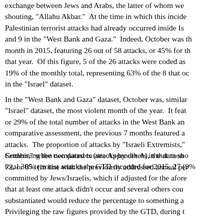exchange between Jews and Arabs, the latter of whom were shouting, "Allahu Akbar." At the time in which this incident Palestinian terrorist attacks had already occurred inside Is and 9 in the "West Bank and Gaza." Indeed, October was th month in 2015, featuring 26 out of 58 attacks, or 45% for th that year. Of this figure, 5 of the 26 attacks were coded as 19% of the monthly total, representing 63% of the 8 that oc in the "Israel" dataset.
In the "West Bank and Gaza" dataset, October was, similar "Israel" dataset, the most violent month of the year. It feat or 29% of the total number of attacks in the West Bank an comparative assessment, the previous 7 months featured a attacks. The proportion of attacks by "Israeli Extremists," Settlers," when compared to attacks by others in that mon 72, or 8% (in line with the previously addressed annual pe
Combining the two datasets (see Appendix A), the data sho total 305 terrorist attacks the GTD recorded for 2015, 27 (9% committed by Jews/Israelis, which if adjusted for the afor that at least one attack didn't occur and several others co substantiated would reduce the percentage to something a Privileging the raw figures provided by the GTD, during t